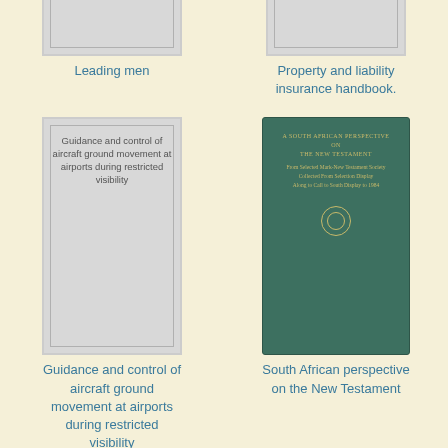[Figure (illustration): Gray book cover placeholder for 'Leading men']
Leading men
[Figure (illustration): Gray book cover placeholder for 'Property and liability insurance handbook.']
Property and liability insurance handbook.
[Figure (illustration): Gray book cover with text 'Guidance and control of aircraft ground movement at airports during restricted visibility']
Guidance and control of aircraft ground movement at airports during restricted visibility
[Figure (photo): Green book cover: 'A South African Perspective on the New Testament']
South African perspective on the New Testament